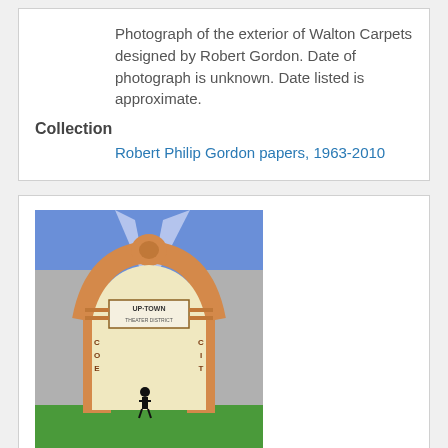Photograph of the exterior of Walton Carpets designed by Robert Gordon. Date of photograph is unknown. Date listed is approximate.
Collection
Robert Philip Gordon papers, 1963-2010
[Figure (illustration): Painting of the Uptown Theater District showing an ornate orange arch gateway with spotlights, a small figure standing beneath it, green ground, and a blue evening sky.]
Title
Uptown Theater District painting, 1997